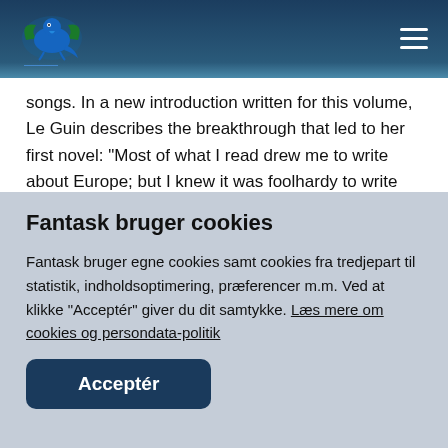Fantask logo and navigation menu
songs. In a new introduction written for this volume, Le Guin describes the breakthrough that led to her first novel: “Most of what I read drew me to write about Europe; but I knew it was foolhardy to write fiction set in Europe if I’d never been there. At last it
Fantask bruger cookies
Fantask bruger egne cookies samt cookies fra tredjepart til statistik, indholdsoptimering, præferencer m.m. Ved at klikke “Acceptér” giver du dit samtykke. Læs mere om cookies og persondata-politik
Acceptér